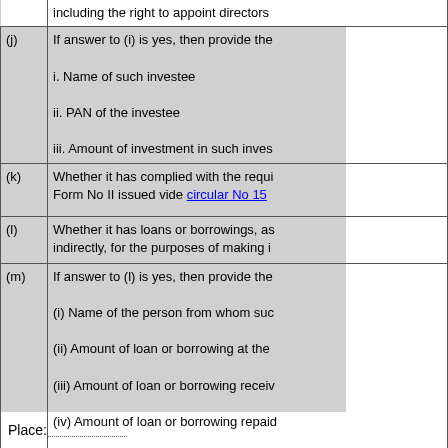| Letter | Content |
| --- | --- |
|  | including the right to appoint directors |
| (j) | If answer to (i) is yes, then provide the
i. Name of such investee
ii. PAN of the investee
iii. Amount of investment in such invest |
| (k) | Whether it has complied with the requi... Form No II issued vide circular No 15... |
| (l) | Whether it has loans or borrowings, as... indirectly, for the purposes of making i... |
| (m) | If answer to (l) is yes, then provide the
(i) Name of the person from whom suc
(ii) Amount of loan or borrowing at the
(iii) Amount of loan or borrowing receiv
(iv) Amount of loan or borrowing repaid
(v) Amount of loan or borrowing at the |
| (n) | Whether separate segmented account... which qualifies for exemption under cla... |
Place:...........